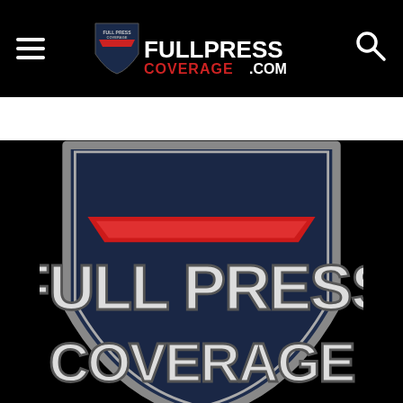FULLPRESSCOVERAGE.COM navigation bar with hamburger menu and search icon
[Figure (logo): Full Press Coverage shield logo with dark navy background, red chevron stripe, and bold text reading FULL PRESS COVERAGE in white/silver letters]